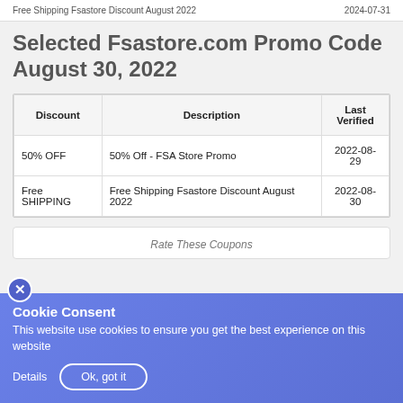Free Shipping Fsastore Discount August 2022   2024-07-31
Selected Fsastore.com Promo Code August 30, 2022
| Discount | Description | Last Verified |
| --- | --- | --- |
| 50% OFF | 50% Off - FSA Store Promo | 2022-08-29 |
| Free SHIPPING | Free Shipping Fsastore Discount August 2022 | 2022-08-30 |
Rate These Coupons
Cookie Consent
This website use cookies to ensure you get the best experience on this website
Details   Ok, got it